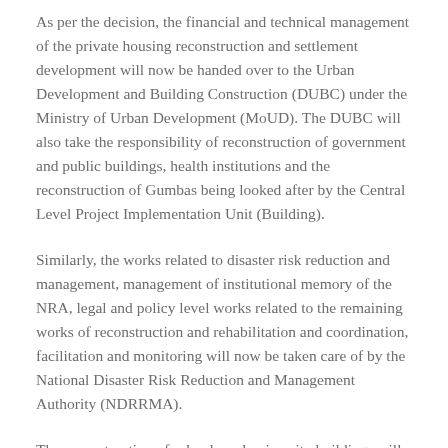As per the decision, the financial and technical management of the private housing reconstruction and settlement development will now be handed over to the Urban Development and Building Construction (DUBC) under the Ministry of Urban Development (MoUD). The DUBC will also take the responsibility of reconstruction of government and public buildings, health institutions and the reconstruction of Gumbas being looked after by the Central Level Project Implementation Unit (Building).
Similarly, the works related to disaster risk reduction and management, management of institutional memory of the NRA, legal and policy level works related to the remaining works of reconstruction and rehabilitation and coordination, facilitation and monitoring will now be taken care of by the National Disaster Risk Reduction and Management Authority (NDRRMA).
The reconstruction of schools and university buildings will be handed over to the Ministry of Education, Department of